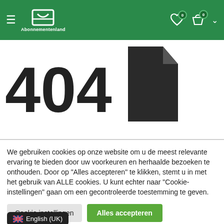Abonnementenland navigation header with hamburger menu, logo, wishlist icon (0), cart icon (0), and chevron
404
[Figure (illustration): Large document/file icon with folded corner]
We gebruiken cookies op onze website om u de meest relevante ervaring te bieden door uw voorkeuren en herhaalde bezoeken te onthouden. Door op "Alles accepteren" te klikken, stemt u in met het gebruik van ALLE cookies. U kunt echter naar "Cookie-instellingen" gaan om een gecontroleerde toestemming te geven.
Cookie instellingen
Alles accepteren
English (UK)